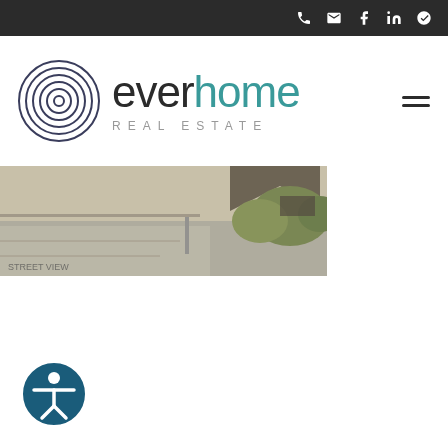everhome Real Estate - navigation bar with phone, email, facebook, linkedin, yelp icons
[Figure (logo): Everhome Real Estate logo: circular spiral emblem on left, 'everhome' wordmark with 'ever' in dark gray and 'home' in teal, 'REAL ESTATE' in spaced gray letters below]
[Figure (photo): Partial outdoor property photo showing a driveway or patio area with shrubs and a roofline, aerial or elevated perspective]
[Figure (illustration): Accessibility icon button: circular dark teal button with white person/accessibility symbol]